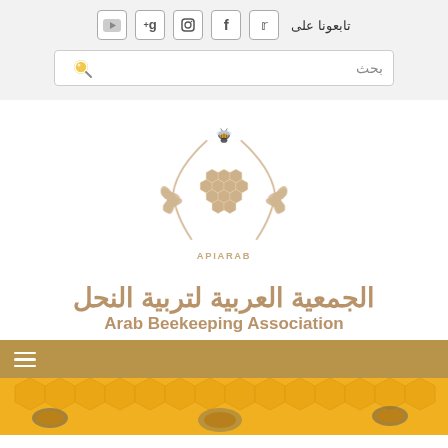تابعونا على  [YouTube] [Google+] [Instagram] [Facebook] [Twitter]
بحث
[Figure (logo): APIARAB logo: golden laurel wreath surrounding a honeycomb map of the Arab world with a bee on top, text APIARAB at bottom]
الجمعية العربية لتربية النحل
Arab Beekeeping Association
[Figure (photo): Close-up photo of bees on honeycomb cells, yellow/golden tones]